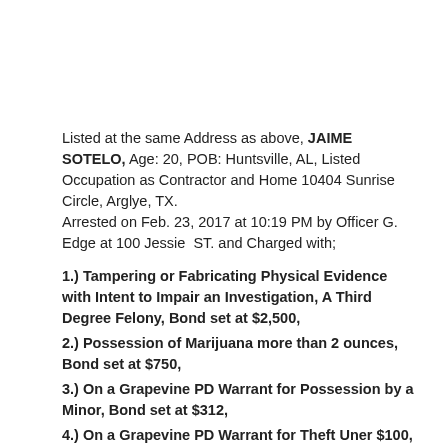Listed at the same Address as above, JAIME SOTELO, Age: 20, POB: Huntsville, AL, Listed Occupation as Contractor and Home 10404 Sunrise Circle, Arglye, TX.
Arrested on Feb. 23, 2017 at 10:19 PM by Officer G. Edge at 100 Jessie ST. and Charged with;
1.) Tampering or Fabricating Physical Evidence with Intent to Impair an Investigation, A Third Degree Felony, Bond set at $2,500,
2.) Possession of Marijuana more than 2 ounces, Bond set at $750,
3.) On a Grapevine PD Warrant for Possession by a Minor, Bond set at $312,
4.) On a Grapevine PD Warrant for Theft Uner $100, Bond set at $442., Total Bond $4004.